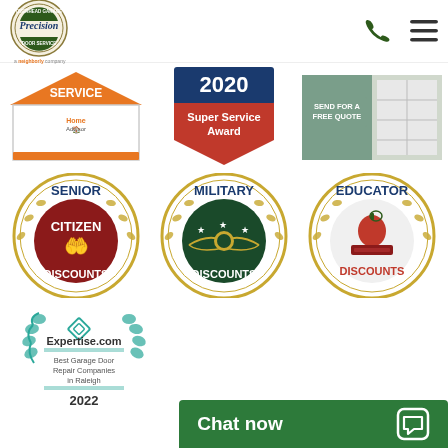[Figure (logo): Precision Overhead Garage Door Service logo - circular seal with 'a Neighborly company' text below]
[Figure (infographic): HomeAdvisor Service award badge with orange roof/house top design]
[Figure (infographic): Angi/Angie's List 2020 Super Service Award badge, blue and red]
[Figure (infographic): Send for a Free Quote banner with garage door image]
[Figure (infographic): Senior Citizen Discounts badge - circular red and gold medallion with hands holding a heart]
[Figure (infographic): Military Discounts badge - circular dark green and gold medallion with wings emblem]
[Figure (infographic): Educator Discounts badge - circular white and gold medallion with apple on books]
[Figure (infographic): Expertise.com 2022 Best Garage Door Repair Companies in Raleigh badge, teal/green laurel wreath design]
Chat now